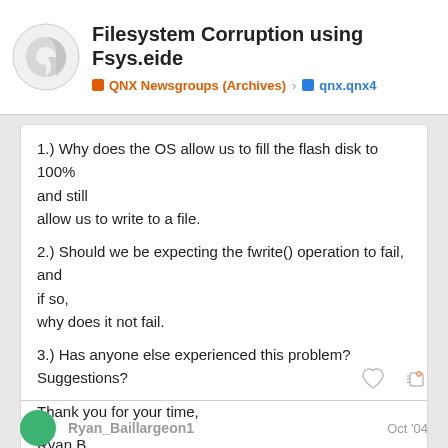Filesystem Corruption using Fsys.eide | QNX Newsgroups (Archives) > qnx.qnx4
1.) Why does the OS allow us to fill the flash disk to 100% and still
allow us to write to a file.

2.) Should we be expecting the fwrite() operation to fail, and if so,
why does it not fail.

3.) Has anyone else experienced this problem? Suggestions?

Thank you for your time,

Ryan B,
Student,
School of Rock.
Ryan_Baillargeon1  Oct '04